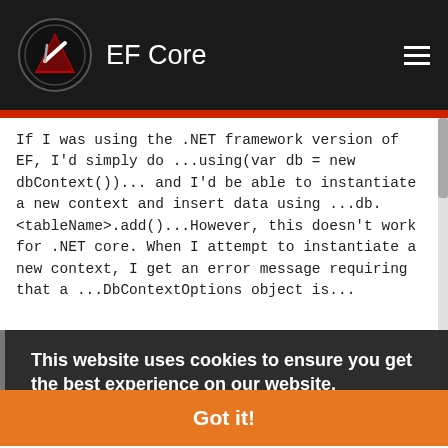EF Core
If I was using the .NET framework version of EF, I'd simply do ...using(var db = new dbContext())... and I'd be able to instantiate a new context and insert data using ...db.<tableName>.add()...However, this doesn't work for .NET core. When I attempt to instantiate a new context, I get an error message requiring that a ...DbContextOptions object is...
c#
entity-framework-core
asked by user10506386
This website uses cookies to ensure you get the best experience on our website. Learn more
Why am I getting duplicate ID columns when using Table Per...